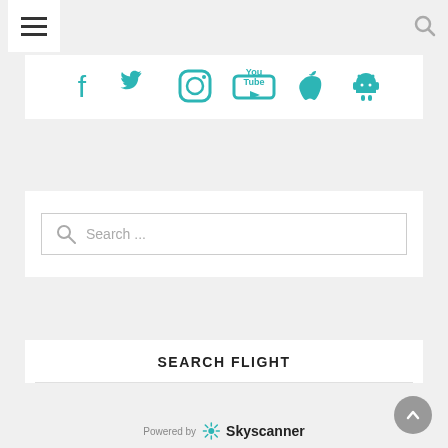[Figure (screenshot): Website header with hamburger menu icon on left and search icon on right]
[Figure (infographic): Social media icons row: Facebook, Twitter, Instagram, YouTube, Apple, Android — all in teal/cyan color]
[Figure (screenshot): Search bar with magnifying glass icon and placeholder text 'Search ...']
SEARCH FLIGHT
[Figure (logo): Powered by Skyscanner logo with sunburst icon]